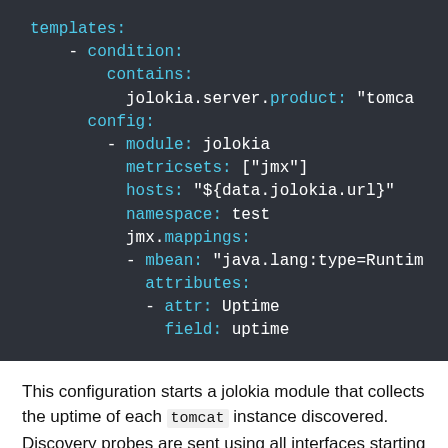[Figure (screenshot): Dark-themed code block showing YAML configuration for a jolokia module with conditions, metricsets, hosts, namespace, jmx mappings, mbean, attributes, attr and field settings.]
This configuration starts a jolokia module that collects the uptime of each tomcat instance discovered. Discovery probes are sent using all interfaces starting